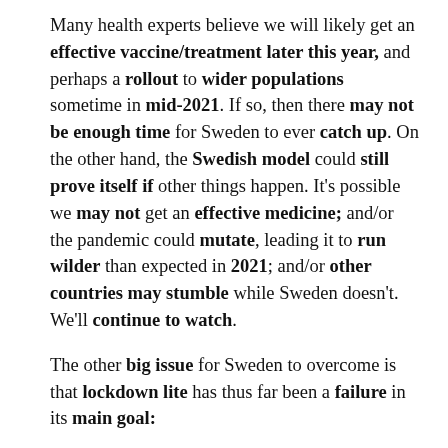Many health experts believe we will likely get an effective vaccine/treatment later this year, and perhaps a rollout to wider populations sometime in mid-2021. If so, then there may not be enough time for Sweden to ever catch up. On the other hand, the Swedish model could still prove itself if other things happen. It's possible we may not get an effective medicine; and/or the pandemic could mutate, leading it to run wilder than expected in 2021; and/or other countries may stumble while Sweden doesn't. We'll continue to watch.
The other big issue for Sweden to overcome is that lockdown lite has thus far been a failure in its main goal: